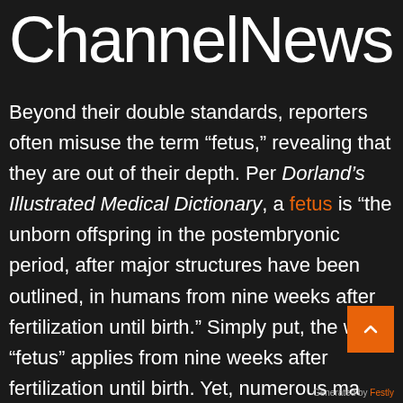ChannelNews
Beyond their double standards, reporters often misuse the term “fetus,” revealing that they are out of their depth. Per Dorland’s Illustrated Medical Dictionary, a fetus is “the unborn offspring in the postembryonic period, after major structures have been outlined, in humans from nine weeks after fertilization until birth.” Simply put, the word “fetus” applies from nine weeks after fertilization until birth. Yet, numerous ma… news organizations have misapplied this